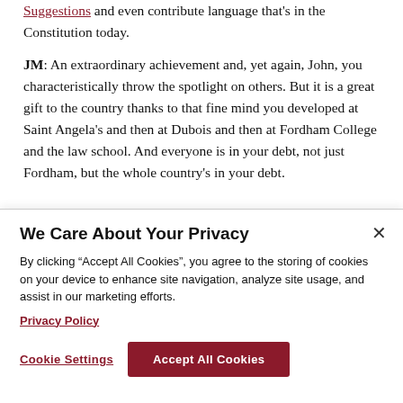Suggestions and even contribute language that's in the Constitution today.
JM: An extraordinary achievement and, yet again, John, you characteristically throw the spotlight on others. But it is a great gift to the country thanks to that fine mind you developed at Saint Angela's and then at Dubois and then at Fordham College and the law school. And everyone is in your debt, not just Fordham, but the whole country's in your debt.
We Care About Your Privacy
By clicking “Accept All Cookies”, you agree to the storing of cookies on your device to enhance site navigation, analyze site usage, and assist in our marketing efforts.
Privacy Policy
Cookie Settings
Accept All Cookies